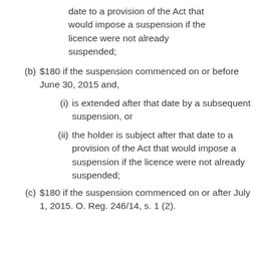(ii) the holder is not subject after that date to a provision of the Act that would impose a suspension if the licence were not already suspended;
(b) $180 if the suspension commenced on or before June 30, 2015 and,
(i) is extended after that date by a subsequent suspension, or
(ii) the holder is subject after that date to a provision of the Act that would impose a suspension if the licence were not already suspended;
(c) $180 if the suspension commenced on or after July 1, 2015. O. Reg. 246/14, s. 1 (2).